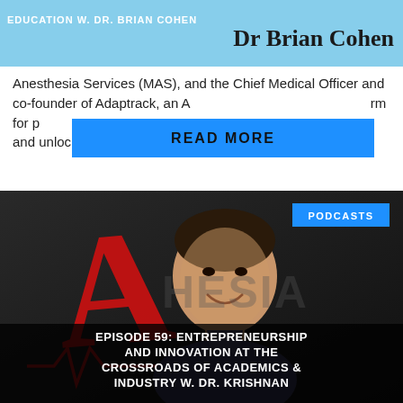EDUCATION W. DR. BRIAN COHEN
Dr Brian Cohen
Anesthesia Services (MAS), and the Chief Medical Officer and co-founder of Adaptrack, an A[…]rm for p[…]ots and unlock...
[Figure (screenshot): Blue READ MORE button overlaying article text]
[Figure (photo): Podcast thumbnail image showing a man smiling in front of an Anesthesia branded background with large red letter A logo. A PODCASTS badge appears in the top right corner. Episode title text at bottom reads: EPISODE 59: ENTREPRENEURSHIP AND INNOVATION AT THE CROSSROADS OF ACADEMICS & INDUSTRY W. DR. KRISHNAN]
EPISODE 59: ENTREPRENEURSHIP AND INNOVATION AT THE CROSSROADS OF ACADEMICS & INDUSTRY W. DR. KRISHNAN